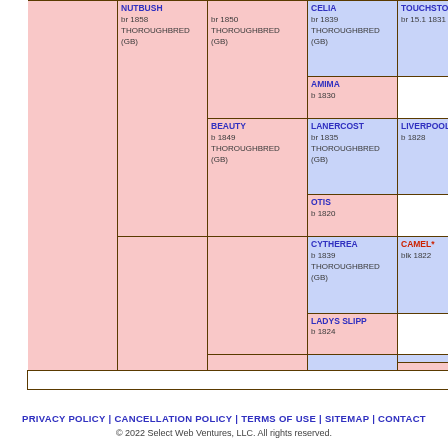[Figure (other): Partial horse pedigree chart showing genealogy table with pink and blue color-coded cells. Visible entries include NUTBUSH (br 1858 THOROUGHBRED GB), an unnamed horse (br 1850 THOROUGHBRED GB), CELIA (br 1839 THOROUGHBRED GB), TOUCHSTONE (br 15.1 1831), AMIMA (b 1830), BEAUTY (b 1849 THOROUGHBRED GB), LANERCOST (br 1835 THOROUGHBRED GB), LIVERPOOL (b 1828), OTIS (b 1820), CYTHEREA (b 1839 THOROUGHBRED GB), CAMEL* (blk 1822), LADYS SLIPP... (b 1824).]
PRIVACY POLICY | CANCELLATION POLICY | TERMS OF USE | SITEMAP | CONTACT
© 2022 Select Web Ventures, LLC. All rights reserved.